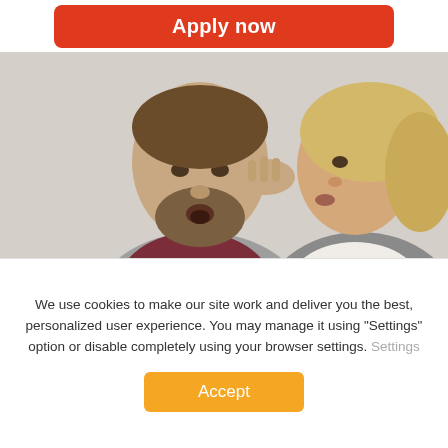[Figure (illustration): Apply now button (red/orange rounded rectangle) at the top of the page]
[Figure (photo): A bearded man with open mouth and a blonde woman whispering into his ear, both photographed against a light background]
City Tips&Hints
You got the offer and now it's time to relocate? No worries at all!
You get all the information on best districts to rent a place,
We use cookies to make our site work and deliver you the best, personalized user experience. You may manage it using "Settings" option or disable completely using your browser settings. Settings
[Figure (illustration): Accept button (orange rounded rectangle)]